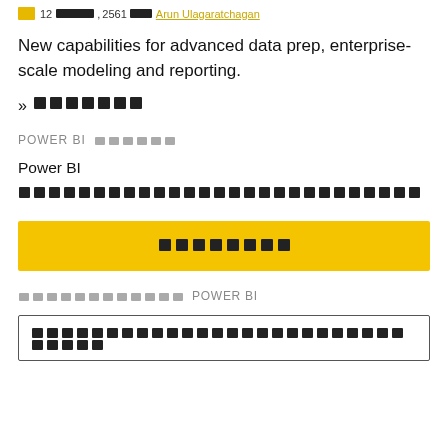[icon] 12 [redacted], 2561 [redacted] Arun Ulagaratchagan
New capabilities for advanced data prep, enterprise-scale modeling and reporting.
» [redacted]
POWER BI [redacted]
Power BI [redacted block paragraph]
[redacted button: CTA]
[redacted] POWER BI
[redacted box content]